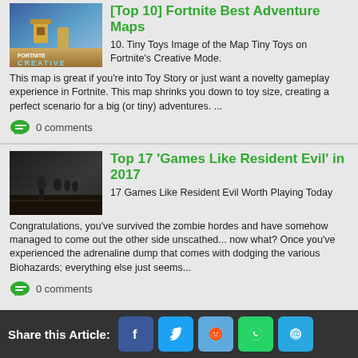[Top 10] Fortnite Best Adventure Maps
10. Tiny Toys Image of the Map Tiny Toys on Fortnite's Creative Mode. This map is great if you're into Toy Story or just want a novelty gameplay experience in Fortnite. This map shrinks you down to toy size, creating a perfect scenario for a big (or tiny) adventures.    ...
0 comments
Top 17 'Games Like Resident Evil' in 2017
17 Games Like Resident Evil Worth Playing Today Congratulations, you've survived the zombie hordes and have somehow managed to come out the other side unscathed... now what? Once you've experienced the adrenaline dump that comes with dodging the various Biohazards; everything else just seems...
0 comments
Share this Article: